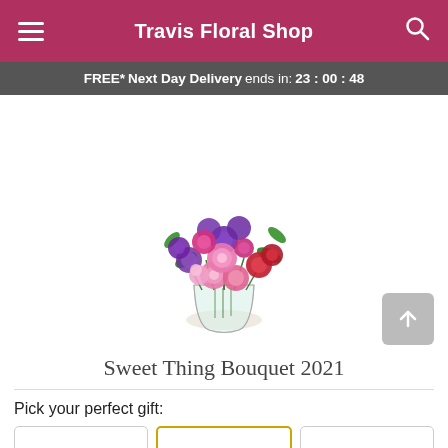Travis Floral Shop
FREE* Next Day Delivery ends in: 23:00:48
[Figure (photo): A vibrant floral bouquet with pink, red, and purple flowers including roses and carnations arranged in a clear glass vase]
Sweet Thing Bouquet 2021
Pick your perfect gift: